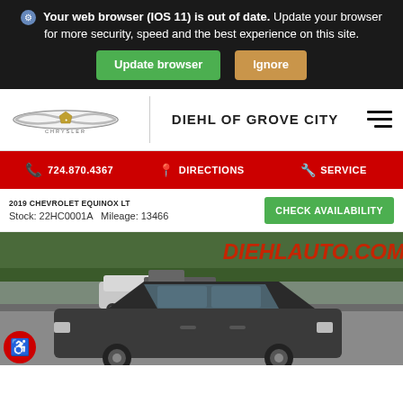Your web browser (IOS 11) is out of date. Update your browser for more security, speed and the best experience on this site.
Update browser   Ignore
[Figure (logo): Chrysler logo]
DIEHL OF GROVE CITY
724.870.4367   DIRECTIONS   SERVICE
2019 CHEVROLET EQUINOX LT
Stock: 22HC0001A   Mileage: 13466
CHECK AVAILABILITY
[Figure (photo): 2019 Chevrolet Equinox LT vehicle photo in parking lot with trees in background and DIEHLAUTO.COM watermark]